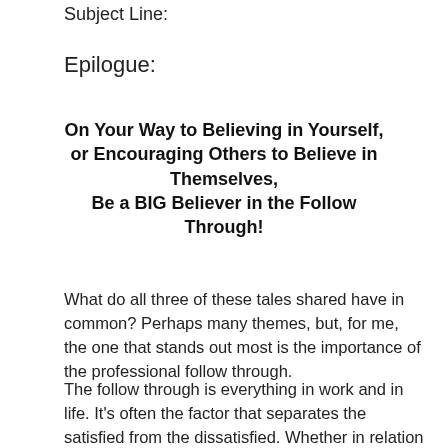Subject Line:
Epilogue:
On Your Way to Believing in Yourself, or Encouraging Others to Believe in Themselves, Be a BIG Believer in the Follow Through!
What do all three of these tales shared have in common? Perhaps many themes, but, for me, the one that stands out most is the importance of the professional follow through.
The follow through is everything in work and in life. It's often the factor that separates the satisfied from the dissatisfied. Whether in relation to private or professional life, as this